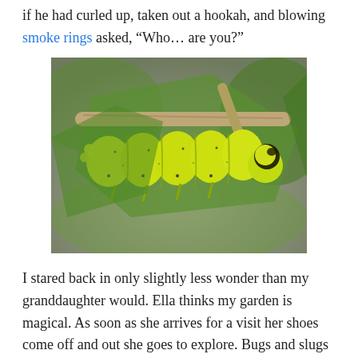if he had curled up, taken out a hookah, and blowing smoke rings asked, “Who… are you?”
[Figure (photo): A bright yellow-green caterpillar with black dots clinging upside-down to a plant stem with green leaves in the background.]
I stared back in only slightly less wonder than my granddaughter would. Ella thinks my garden is magical. As soon as she arrives for a visit her shoes come off and out she goes to explore. Bugs and slugs are her friends and